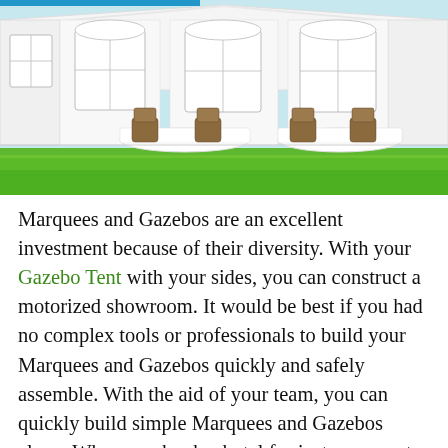[Figure (photo): A large white gazebo tent with windowed side panels set up on green grass, with wicker chairs and white-clothed tables arranged inside, overlooking a bright outdoor background.]
Marquees and Gazebos are an excellent investment because of their diversity. With your Gazebo Tent with your sides, you can construct a motorized showroom. It would be best if you had no complex tools or professionals to build your Marquees and Gazebos quickly and safely assemble. With the aid of your team, you can quickly build simple Marquees and Gazebos alone. When you book a hotel for just any event, they